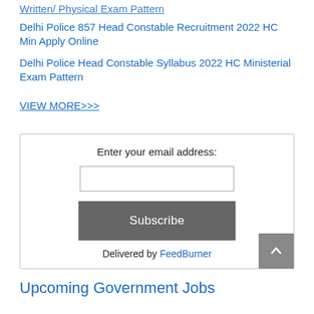Written/ Physical Exam Pattern
Delhi Police 857 Head Constable Recruitment 2022 HC Min Apply Online
Delhi Police Head Constable Syllabus 2022 HC Ministerial Exam Pattern
VIEW MORE>>>
Enter your email address:
Subscribe
Delivered by FeedBurner
Upcoming Government Jobs